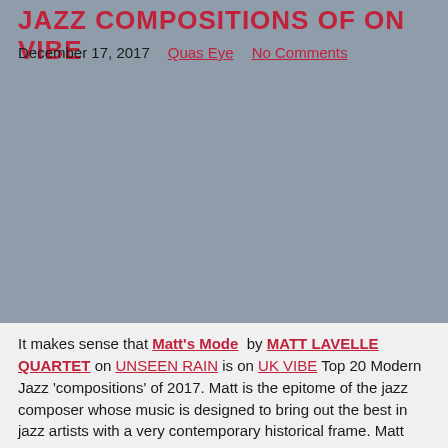JAZZ COMPOSITIONS OF ON VIBE
December 17, 2017   Quas Eye   No Comments
[Figure (photo): Large grey/blue image placeholder filling the middle section of the page]
It makes sense that Matt's Mode by MATT LAVELLE QUARTET on UNSEEN RAIN is on UK VIBE Top 20 Modern Jazz 'compositions' of 2017. Matt is the epitome of the jazz composer whose music is designed to bring out the best in jazz artists with a very contemporary historical frame. Matt